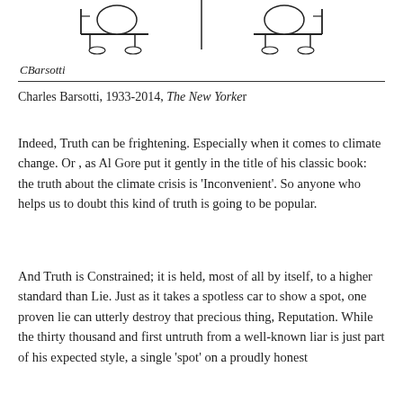[Figure (illustration): Cartoon illustration by Charles Barsotti showing abstract figures seated, with the artist's signature 'CBarsotti' below. A horizontal rule separates the illustration from the caption.]
Charles Barsotti, 1933-2014, The New Yorker
Indeed, Truth can be frightening. Especially when it comes to climate change. Or , as Al Gore put it gently in the title of his classic book: the truth about the climate crisis is 'Inconvenient'. So anyone who helps us to doubt this kind of truth is going to be popular.
And Truth is Constrained; it is held, most of all by itself, to a higher standard than Lie. Just as it takes a spotless car to show a spot, one proven lie can utterly destroy that precious thing, Reputation. While the thirty thousand and first untruth from a well-known liar is just part of his expected style, a single 'spot' on a proudly honest